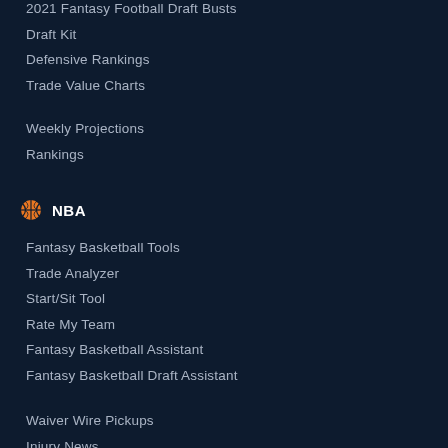2021 Fantasy Football Draft Busts
Draft Kit
Defensive Rankings
Trade Value Charts
Weekly Projections
Rankings
NBA
Fantasy Basketball Tools
Trade Analyzer
Start/Sit Tool
Rate My Team
Fantasy Basketball Assistant
Fantasy Basketball Draft Assistant
Waiver Wire Pickups
Injury News